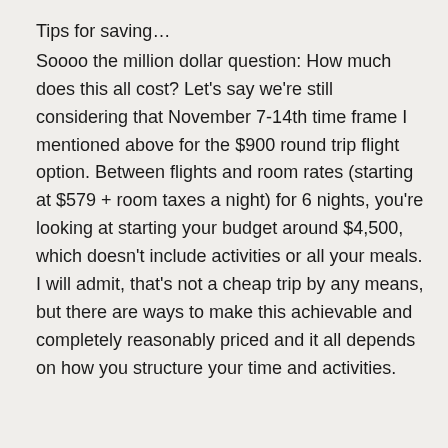Tips for saving…
Soooo the million dollar question: How much does this all cost? Let's say we're still considering that November 7-14th time frame I mentioned above for the $900 round trip flight option. Between flights and room rates (starting at $579 + room taxes a night) for 6 nights, you're looking at starting your budget around $4,500, which doesn't include activities or all your meals. I will admit, that's not a cheap trip by any means, but there are ways to make this achievable and completely reasonably priced and it all depends on how you structure your time and activities.